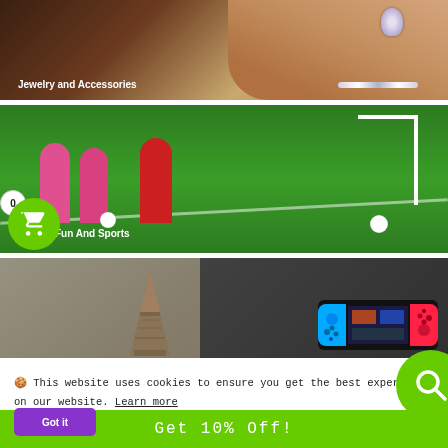[Figure (photo): Woman wearing diamond jewelry — earrings and necklace — against a dark background]
Jewelry and Accessories
[Figure (photo): Children playing soccer on a green field with goal posts in background]
Fun And Sports
[Figure (photo): Eiffel Tower miniature, map, and Nintendo Switch gaming console on a table]
🍪 This website uses cookies to ensure you get the best experience on our website. Learn more
Get 10% Off!